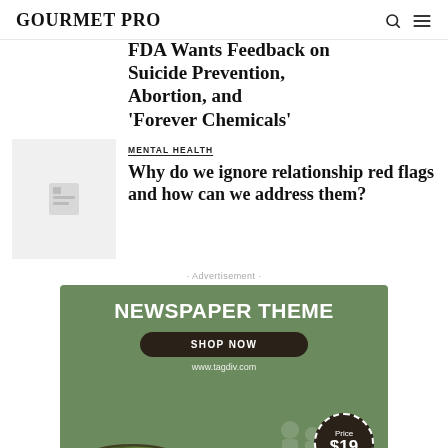GOURMET PRO
FDA Wants Feedback on Suicide Prevention, Abortion, and 'Forever Chemicals'
MENTAL HEALTH
Why do we ignore relationship red flags and how can we address them?
· Advertisement ·
[Figure (illustration): Advertisement banner for Newspaper Theme by tagdiv.com. Green background with text 'NEWSPAPER THEME', a dark 'SHOP NOW' button, URL www.tagdiv.com, and a price circle showing '$19'. Bottom features food bowl image with tomato and greens.]